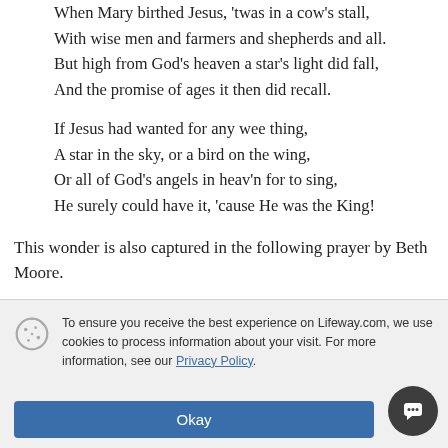When Mary birthed Jesus, 'twas in a cow's stall,
With wise men and farmers and shepherds and all.
But high from God's heaven a star's light did fall,
And the promise of ages it then did recall.

If Jesus had wanted for any wee thing,
A star in the sky, or a bird on the wing,
Or all of God's angels in heav'n for to sing,
He surely could have it, 'cause He was the King!
This wonder is also captured in the following prayer by Beth Moore.
To ensure you receive the best experience on Lifeway.com, we use cookies to process information about your visit. For more information, see our Privacy Policy.
Okay